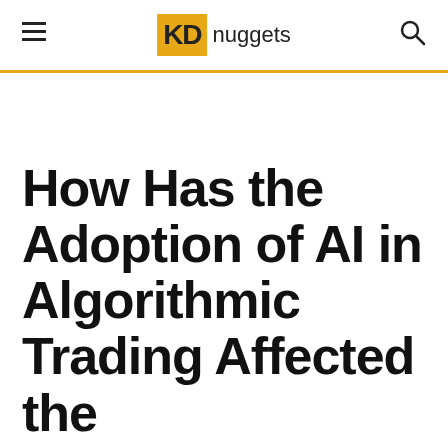KD nuggets
How Has the Adoption of AI in Algorithmic Trading Affected the